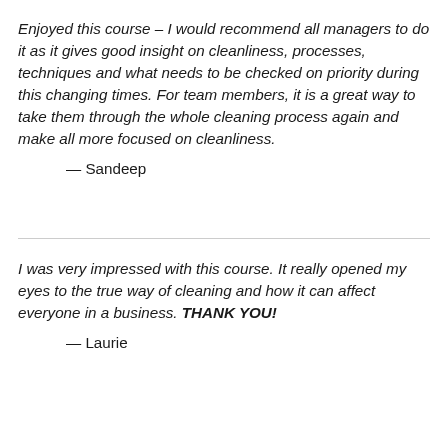Enjoyed this course – I would recommend all managers to do it as it gives good insight on cleanliness, processes, techniques and what needs to be checked on priority during this changing times. For team members, it is a great way to take them through the whole cleaning process again and make all more focused on cleanliness.
— Sandeep
I was very impressed with this course. It really opened my eyes to the true way of cleaning and how it can affect everyone in a business. THANK YOU!
— Laurie